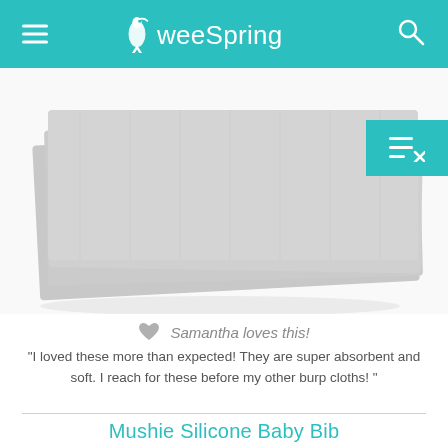weeSpring
[Figure (photo): Stack of grey burp cloths with a small label, folded and layered on a white background. A teal add-to-list button is visible in the upper right corner.]
Samantha loves this!
"I loved these more than expected! They are super absorbent and soft. I reach for these before my other burp cloths! "
Mushie Silicone Baby Bib
[Figure (photo): A tan/beige silicone baby bib with a snap closure and small decorative prints, shown against a white background. A checkmark button and a Contact Us button are visible on the right side.]